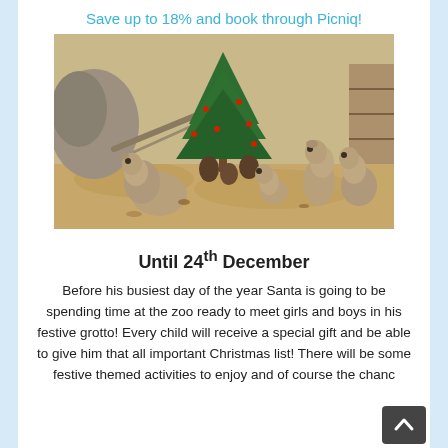Save up to 18% and book through Picniq!
[Figure (photo): Meerkats investigating a small decorated Christmas tree with pine cones in a sandy zoo enclosure]
Until 24th December
Before his busiest day of the year Santa is going to be spending time at the zoo ready to meet girls and boys in his festive grotto! Every child will receive a special gift and be able to give him that all important Christmas list! There will be some festive themed activities to enjoy and of course the chanc...